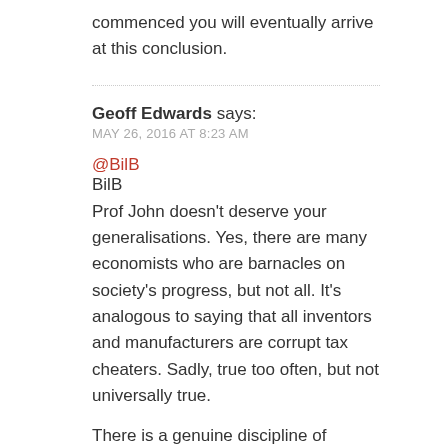commenced you will eventually arrive at this conclusion.
Geoff Edwards says:
MAY 26, 2016 AT 8:23 AM
@BilB
BilB
Prof John doesn't deserve your generalisations. Yes, there are many economists who are barnacles on society's progress, but not all. It's analogous to saying that all inventors and manufacturers are corrupt tax cheaters. Sadly, true too often, but not universally true.
There is a genuine discipline of economics which